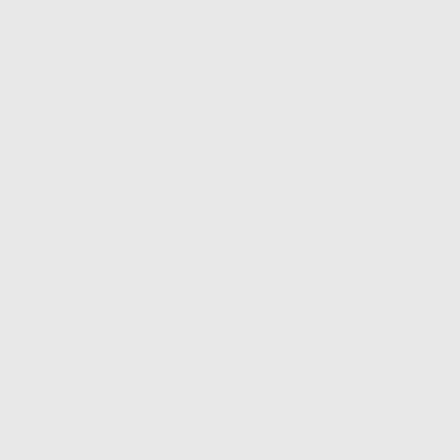depends on high temperature that the bac "In winter, h not always a
The researc entering the these value their waste biological fil waste water between. "C Kamjunke. area is requ
The researc to install an moratorium of moving th work," belie idea."
Citation: No Kopplin, The Reyes, Stef